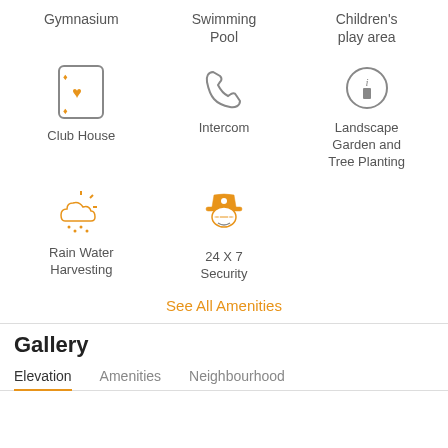[Figure (infographic): Grid of amenity icons with labels: Gymnasium (partial, top), Swimming Pool (partial, top), Children's play area (partial, top), Club House with playing card icon, Intercom with phone icon, Landscape Garden and Tree Planting with info icon, Rain Water Harvesting with cloud/sun icon, 24 X 7 Security with security guard icon]
See All Amenities
Gallery
Elevation  Amenities  Neighbourhood